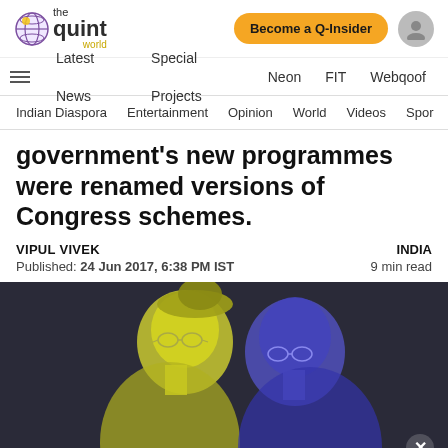The Quint World — Become a Q-Insider
Latest News | Special Projects | Neon | FIT | Webqoof
Indian Diaspora | Entertainment | Opinion | World | Videos | Spor
government's new programmes were renamed versions of Congress schemes.
VIPUL VIVEK
Published: 24 Jun 2017, 6:38 PM IST
INDIA
9 min read
[Figure (photo): Two political figures shown in profile, one tinted yellow and one tinted blue/purple, facing opposite directions against a dark background.]